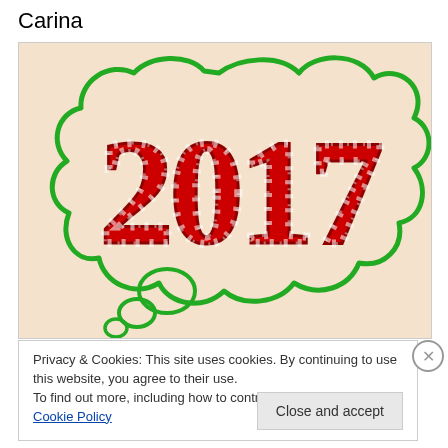Carina
[Figure (illustration): A thought bubble drawn with green hand-drawn lines on a beige/cream background, containing the year '2017' in large red decorative serif letters with white highlights. The thought bubble has small circular bubbles at the bottom-left leading down.]
Privacy & Cookies: This site uses cookies. By continuing to use this website, you agree to their use.
To find out more, including how to control cookies, see here: Cookie Policy
Close and accept